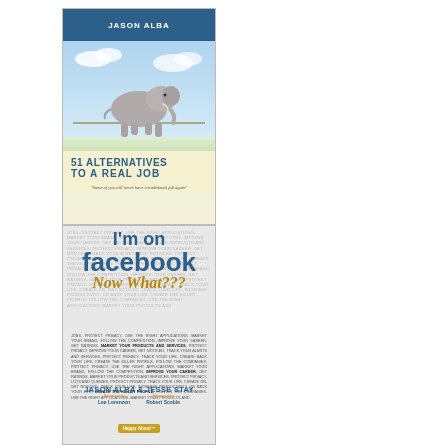[Figure (illustration): Book cover: '51 Alternatives to a Real Job' by Jason Alba. Features an elephant walking a tightrope against a sky background. Dark blue header bar at top with author name.]
[Figure (illustration): Book cover: 'I'm on facebook Now What???' by Jason Alba & Jesse Stay. Features bold blue text title on textured background with repeating small text. Foreword by Lee Lorenzen, Afterword by Robert Scoble. Published by Happy About.]